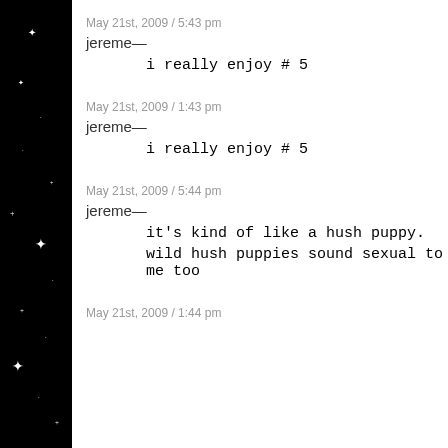May 21st, 2009 / 5:43 pm
jereme—
i really enjoy # 5
May 21st, 2009 / 1:43 pm
jereme—
i really enjoy # 5
May 21st, 2009 / 5:44 pm
jereme—
it's kind of like a hush puppy.
wild hush puppies sound sexual to me too
May 21st, 2009 / 1:44 pm